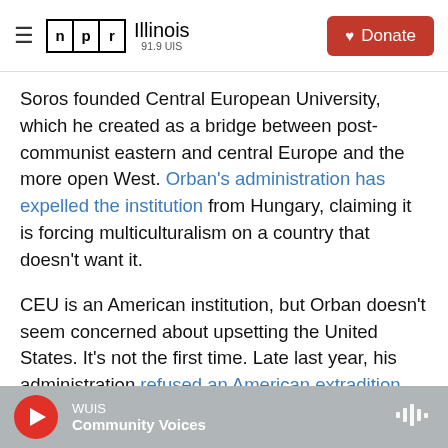NPR Illinois 91.9 UIS | Donate
Soros founded Central European University, which he created as a bridge between post-communist eastern and central Europe and the more open West. Orban's administration has expelled the institution from Hungary, claiming it is forcing multiculturalism on a country that doesn't want it.
CEU is an American institution, but Orban doesn't seem concerned about upsetting the United States. It's not the first time. Late last year, his administration refused an American extradition request for two suspected Russian arms dealers, instead sending them back to Russia.
WUIS Community Voices